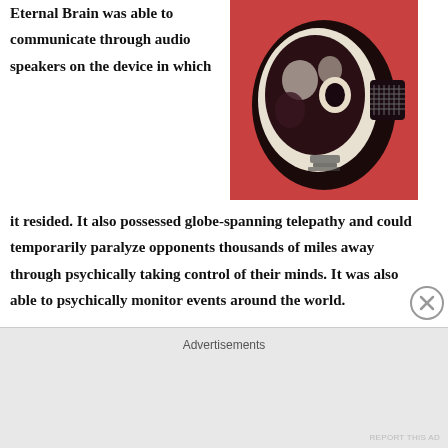Eternal Brain was able to communicate through audio speakers on the device in which it resided. It also possessed globe-spanning telepathy and could temporarily paralyze opponents thousands of miles away through psychically taking control of their minds. It was also able to psychically monitor events around the world.
[Figure (illustration): Comic book style illustration of a brain in a jar or device, rendered in dark purple/maroon tones on a red background]
Comment: While trying to rescue Mary Carmody, Jim Fitzpatrick wielded an electric sword invented by Professor
Advertisements